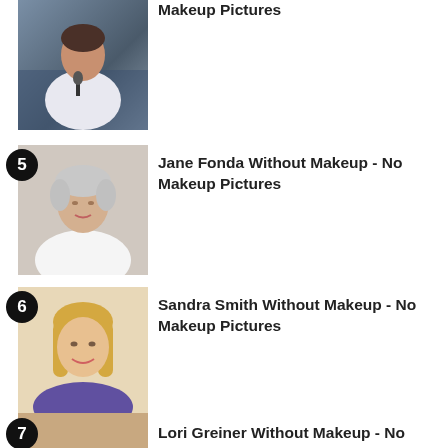Makeup Pictures
5. Jane Fonda Without Makeup - No Makeup Pictures
6. Sandra Smith Without Makeup - No Makeup Pictures
7. Lori Greiner Without Makeup - No Makeup Pictures
8. Lisa Boothe Without Makeup - No Makeup Pictures